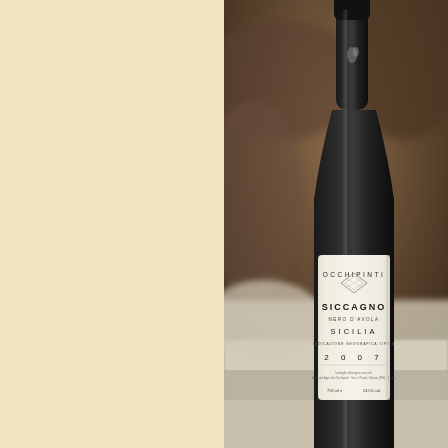[Figure (photo): A wine bottle of Occhipinti Siccagno Nero d'Avola Sicilia Indicazione Geografica Tipica 2007, photographed on a restaurant table with a white tablecloth and blurred background. The label is white with the brand name OCCHIPINTI at the top, a small geometric logo, and text reading SICCAGNO / NERO D'AVOLA / SICILIA / INDICAZIONE GEOGRAFICA TIPICA / 2 0 0 7. The left half of the image is a warm cream/beige color.]